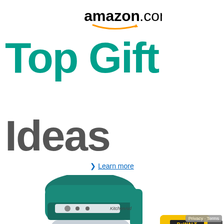[Figure (logo): Amazon.com logo with orange smile/arrow underneath the text]
Top Gift Ideas
> Learn more
[Figure (photo): Teal KitchenAid Artisan stand mixer with stainless steel bowl, DeWalt yellow power drill, colorful toy, and blue object arranged overlapping at the bottom of the ad]
Privacy · Terms